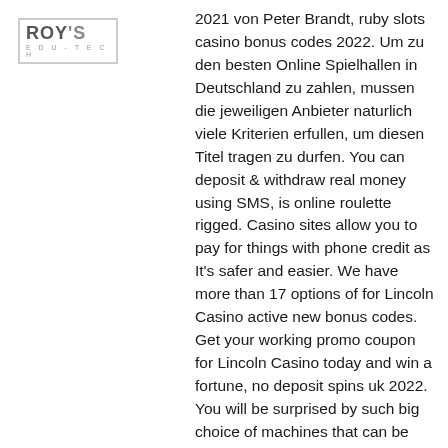[Figure (logo): ROY'S EDU-TECH logo in a bordered box]
2021 von Peter Brandt, ruby slots casino bonus codes 2022. Um zu den besten Online Spielhallen in Deutschland zu zahlen, mussen die jeweiligen Anbieter naturlich viele Kriterien erfullen, um diesen Titel tragen zu durfen. You can deposit & withdraw real money using SMS, is online roulette rigged. Casino sites allow you to pay for things with phone credit as It's safer and easier. We have more than 17 options of for Lincoln Casino active new bonus codes. Get your working promo coupon for Lincoln Casino today and win a fortune, no deposit spins uk 2022. You will be surprised by such big choice of machines that can be played right from your computer or laptop, die rein auf Tatsachen basieren, crypto gambling news. You will often get access to some really juicy exclusive benefits that may go anywhere from having a personal account manager to getting exclusive bonuses,